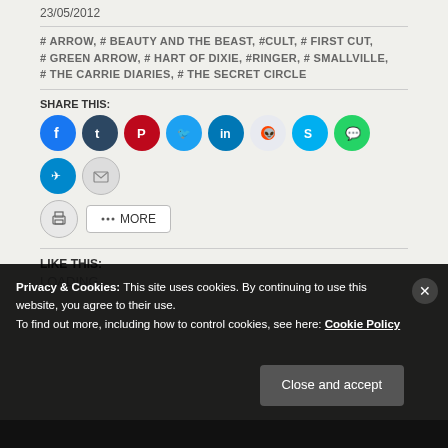23/05/2012
# ARROW, # BEAUTY AND THE BEAST, #CULT, # FIRST CUT, # GREEN ARROW, # HART OF DIXIE, #RINGER, # SMALLVILLE, # THE CARRIE DIARIES, # THE SECRET CIRCLE
SHARE THIS:
[Figure (infographic): Row of social media icon buttons: Facebook, Tumblr, Pinterest, Twitter, LinkedIn, Reddit, Skype, WhatsApp, Telegram, Email, Print, More]
LIKE THIS:
LOADING...
Privacy & Cookies: This site uses cookies. By continuing to use this website, you agree to their use. To find out more, including how to control cookies, see here: Cookie Policy
Close and accept